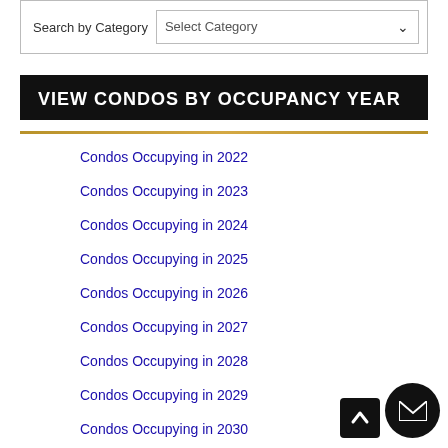Search by Category
VIEW CONDOS BY OCCUPANCY YEAR
Condos Occupying in 2022
Condos Occupying in 2023
Condos Occupying in 2024
Condos Occupying in 2025
Condos Occupying in 2026
Condos Occupying in 2027
Condos Occupying in 2028
Condos Occupying in 2029
Condos Occupying in 2030
Condos Occupying in 2031